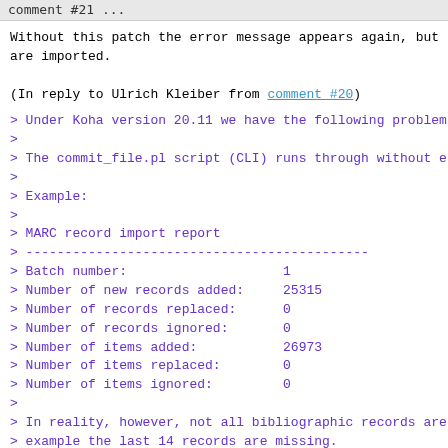comment #21 ...
Without this patch the error message appears again, but
are imported.

(In reply to Ulrich Kleiber from comment #20)
> Under Koha version 20.11 we have the following problem
>
> The commit_file.pl script (CLI) runs through without e
>
> Example:
>
> MARC record import report
> --------------------------------------------
> Batch number:                    1
> Number of new records added:     25315
> Number of records replaced:      0
> Number of records ignored:       0
> Number of items added:           26973
> Number of items replaced:        0
> Number of items ignored:         0
>
> In reality, however, not all bibliographic records are
> example the last 14 records are missing.
> On the Staff page "Manage staged MARC records" the job
> as "Importing" and the last 14 titles have the status
>
> After a reset, another attempt with the same data resu
> problem, except that this time 16 records remained wit